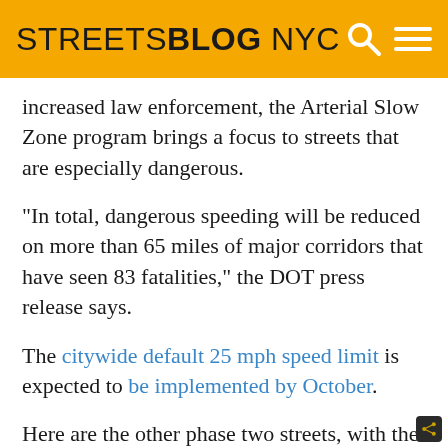STREETSBLOG NYC
increased law enforcement, the Arterial Slow Zone program brings a focus to streets that are especially dangerous.
“In total, dangerous speeding will be reduced on more than 65 miles of major corridors that have seen 83 fatalities,” the DOT press release says.
The citywide default 25 mph speed limit is expected to be implemented by October.
Here are the other phase two streets, with the expected slow zone completion month and their respective number of pedestrian fatalities from 2008 to 2012: